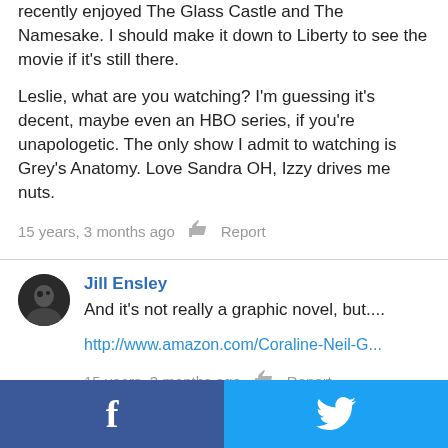recently enjoyed The Glass Castle and The Namesake. I should make it down to Liberty to see the movie if it's still there.
Leslie, what are you watching? I'm guessing it's decent, maybe even an HBO series, if you're unapologetic. The only show I admit to watching is Grey's Anatomy. Love Sandra OH, Izzy drives me nuts.
15 years, 3 months ago   👍   Report
Jill Ensley
And it's not really a graphic novel, but....
http://www.amazon.com/Coraline-Neil-G...
15 years, 3 months ago   👍   Report